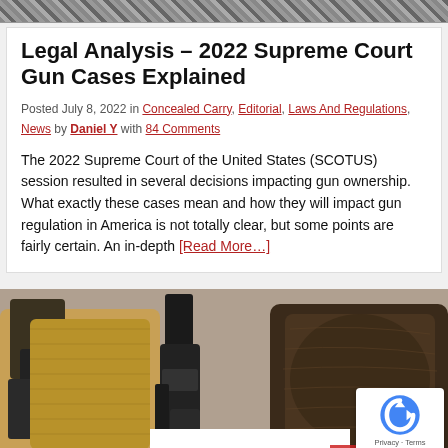[Figure (photo): Top decorative/header image with woven or textured pattern in grays]
Legal Analysis – 2022 Supreme Court Gun Cases Explained
Posted July 8, 2022 in Concealed Carry, Editorial, Laws And Regulations, News by Daniel Y with 84 Comments
The 2022 Supreme Court of the United States (SCOTUS) session resulted in several decisions impacting gun ownership. What exactly these cases mean and how they will impact gun regulation in America is not totally clear, but some points are fairly certain. An in-depth [Read More...]
[Figure (photo): Photo of gun holsters and a black handgun laid on a surface — tan Kydex holster on left, black pistol in center, dark leather holster on right]